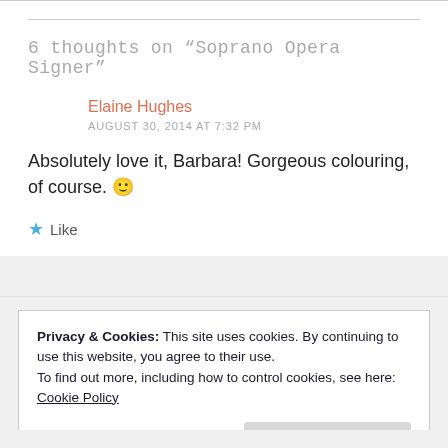6 thoughts on “Soprano Opera Signer”
Elaine Hughes
AUGUST 30, 2014 AT 7:32 PM
Absolutely love it, Barbara! Gorgeous colouring, of course. 🙂
★ Like
Privacy & Cookies: This site uses cookies. By continuing to use this website, you agree to their use.
To find out more, including how to control cookies, see here: Cookie Policy
Close and accept